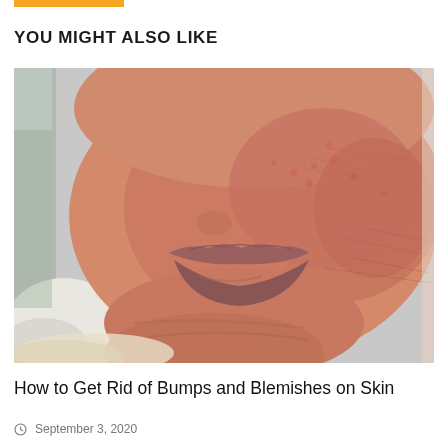YOU MIGHT ALSO LIKE
[Figure (photo): Close-up photo of a baby's face showing red/inflamed skin with small bumps and blemishes on the cheeks and chin area]
How to Get Rid of Bumps and Blemishes on Skin
September 3, 2020